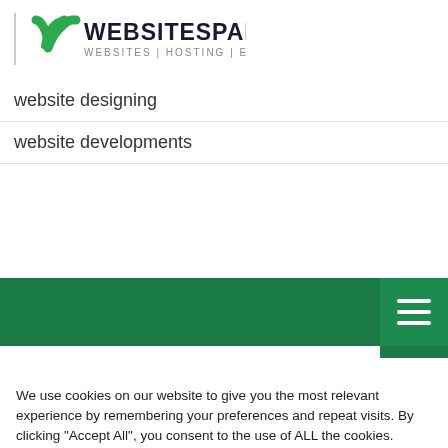[Figure (logo): WebsitesPapa logo with green W icon and text WEBSITESPAPA WEBSITES | HOSTING | EMAIL]
website designing
website developments
We use cookies on our website to give you the most relevant experience by remembering your preferences and repeat visits. By clicking "Accept All", you consent to the use of ALL the cookies. However, you may visit 'Cookie Settings' to provide a controlled consent.
Cookie Settings | Accept All